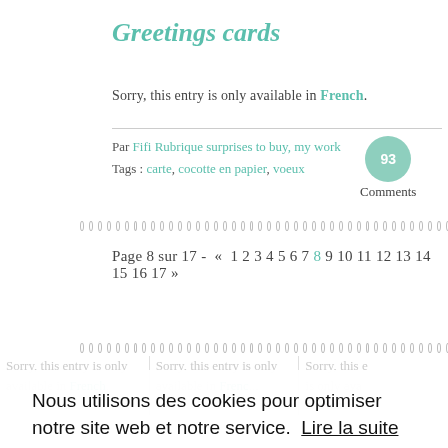Greetings cards
Sorry, this entry is only available in French.
Par Fifi Rubrique surprises to buy, my work
Tags : carte, cocotte en papier, voeux
93 Comments
Page 8 sur 17 - « 1 2 3 4 5 6 7 8 9 10 11 12 13 14 15 16 17 »
Nous utilisons des cookies pour optimiser notre site web et notre service. Lire la suite
Fonctionnels uniquement
Tous les cookies